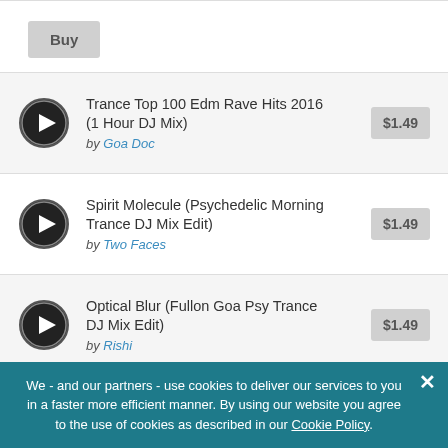Buy
Trance Top 100 Edm Rave Hits 2016 (1 Hour DJ Mix) by Goa Doc $1.49
Spirit Molecule (Psychedelic Morning Trance DJ Mix Edit) by Two Faces $1.49
Optical Blur (Fullon Goa Psy Trance DJ Mix Edit) by Rishi $1.49
MoonSun (Uplifting Nightstyle Trance DJ Mix Edit) ...
Chewbacca Defense Mark Fullon
We - and our partners - use cookies to deliver our services to you in a faster more efficient manner. By using our website you agree to the use of cookies as described in our Cookie Policy.